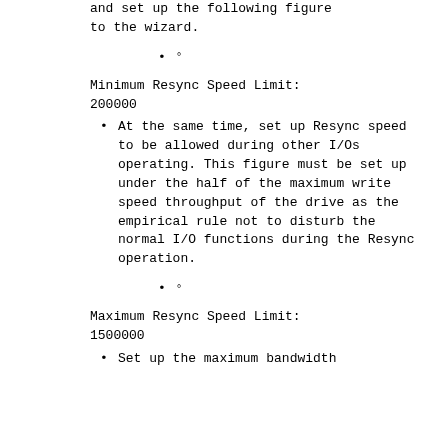and set up the following figure to the wizard.
°
Minimum Resync Speed Limit: 200000
At the same time, set up Resync speed to be allowed during other I/Os operating. This figure must be set up under the half of the maximum write speed throughput of the drive as the empirical rule not to disturb the normal I/O functions during the Resync operation.
°
Maximum Resync Speed Limit: 1500000
Set up the maximum bandwidth